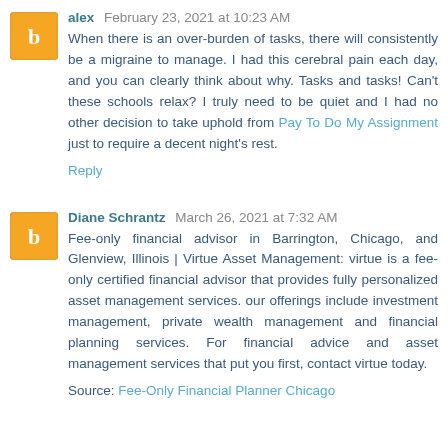alex February 23, 2021 at 10:23 AM
When there is an over-burden of tasks, there will consistently be a migraine to manage. I had this cerebral pain each day, and you can clearly think about why. Tasks and tasks! Can't these schools relax? I truly need to be quiet and I had no other decision to take uphold from Pay To Do My Assignment just to require a decent night's rest.
Reply
Diane Schrantz March 26, 2021 at 7:32 AM
Fee-only financial advisor in Barrington, Chicago, and Glenview, Illinois | Virtue Asset Management: virtue is a fee-only certified financial advisor that provides fully personalized asset management services. our offerings include investment management, private wealth management and financial planning services. For financial advice and asset management services that put you first, contact virtue today.
Source: Fee-Only Financial Planner Chicago